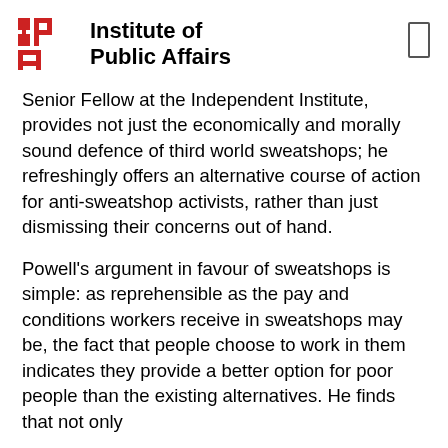Institute of Public Affairs
Senior Fellow at the Independent Institute, provides not just the economically and morally sound defence of third world sweatshops; he refreshingly offers an alternative course of action for anti-sweatshop activists, rather than just dismissing their concerns out of hand.
Powell's argument in favour of sweatshops is simple: as reprehensible as the pay and conditions workers receive in sweatshops may be, the fact that people choose to work in them indicates they provide a better option for poor people than the existing alternatives. He finds that not only